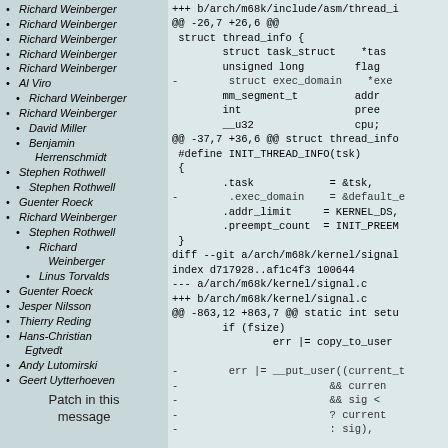Richard Weinberger
Richard Weinberger
Richard Weinberger
Richard Weinberger
Richard Weinberger
Al Viro
Richard Weinberger
Richard Weinberger
David Miller
Benjamin Herrenschmidt
Stephen Rothwell
Stephen Rothwell
Guenter Roeck
Richard Weinberger
Stephen Rothwell
Richard Weinberger
Linus Torvalds
Guenter Roeck
Jesper Nilsson
Thierry Reding
Hans-Christian Egtvedt
Andy Lutomirski
Geert Uytterhoeven
Patch in this message
[Figure (screenshot): Git diff output showing changes to arch/m68k/include/asm/thread_info.h and arch/m68k/kernel/signal.c, with removed lines prefixed by '-' and context lines showing struct thread_info and INIT_THREAD_INFO definitions.]